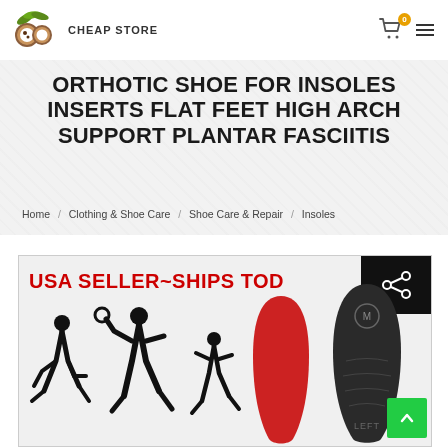CHEAP STORE
ORTHOTIC SHOE FOR INSOLES INSERTS FLAT FEET HIGH ARCH SUPPORT PLANTAR FASCIITIS
Home / Clothing & Shoe Care / Shoe Care & Repair / Insoles
[Figure (photo): Product listing image showing USA SELLER~SHIPS TODAY text in red, athletic silhouettes of people playing sports, red orthotic insole, and black orthotic insole labeled LEFT]